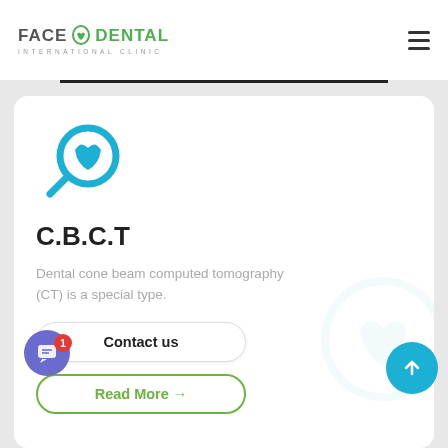FACE DENTAL INTERNATIONAL CLINIC
[Figure (logo): Face Dental International Clinic logo with tooth icon and green dental text]
[Figure (illustration): Blue dental search/magnifying glass icon with tooth symbol]
C.B.C.T
Dental cone beam computed tomography (CT) is a special type.
Contact us
Read More →